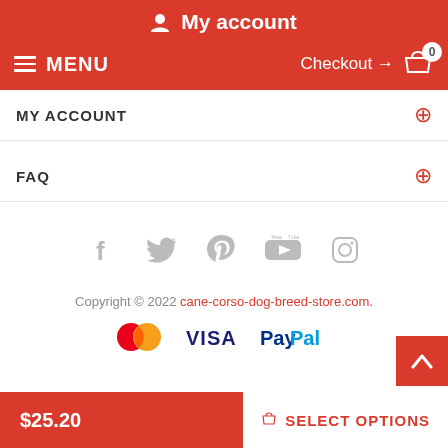My account
MENU   Checkout → 0
MY ACCOUNT
FAQ
[Figure (infographic): Social media icons: Facebook, Twitter, Pinterest, YouTube, Instagram]
Copyright © 2022 cane-corso-dog-breed-store.com.
[Figure (logo): Payment logos: MasterCard, VISA, PayPal]
$25.20   SELECT OPTIONS